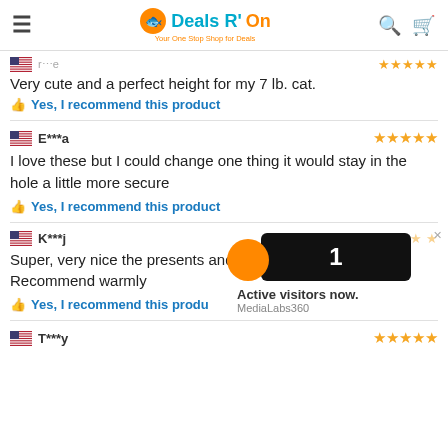Deals R' On - Your One Stop Shop for Deals
Very cute and a perfect height for my 7 lb. cat.
Yes, I recommend this product
E***a
I love these but I could change one thing it would stay in the hole a little more secure
Yes, I recommend this product
K***j
Super, very nice the presents and Recommend warmly
Yes, I recommend this produ
1
Active visitors now.
MediaLabs360
T***y